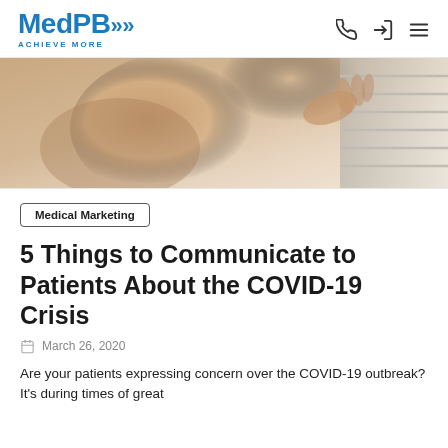MedPB ACHIEVE MORE
[Figure (photo): Close-up photo of an elderly person looking through window blinds, in warm beige and tan tones]
Medical Marketing
5 Things to Communicate to Patients About the COVID-19 Crisis
March 26, 2020
Are your patients expressing concern over the COVID-19 outbreak? It's during times of great